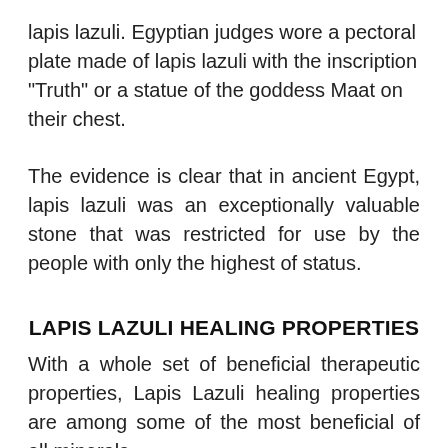lapis lazuli. Egyptian judges wore a pectoral plate made of lapis lazuli with the inscription "Truth" or a statue of the goddess Maat on their chest.
The evidence is clear that in ancient Egypt, lapis lazuli was an exceptionally valuable stone that was restricted for use by the people with only the highest of status.
LAPIS LAZULI HEALING PROPERTIES
With a whole set of beneficial therapeutic properties, Lapis Lazuli healing properties are among some of the most beneficial of all minerals.